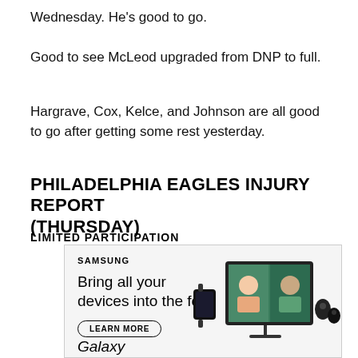Wednesday. He's good to go.
Good to see McLeod upgraded from DNP to full.
Hargrave, Cox, Kelce, and Johnson are all good to go after getting some rest yesterday.
PHILADELPHIA EAGLES INJURY REPORT (THURSDAY)
LIMITED PARTICIPATION
[Figure (other): Samsung advertisement showing 'Bring all your devices into the fold' with LEARN MORE button and Galaxy device images]